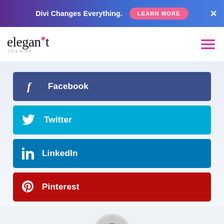Divi Changes Everything. LEARN MORE ×
[Figure (logo): Elegant Themes logo with asterisk and 'themes' subtext]
Facebook
Twitter
LinkedIn
Pinterest
By Jason Champagne